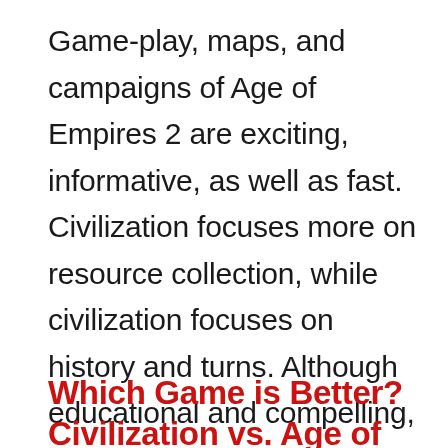Game-play, maps, and campaigns of Age of Empires 2 are exciting, informative, as well as fast. Civilization focuses more on resource collection, while civilization focuses on history and turns. Although educational and compelling, civilization is comparatively slow as it is a turn-based game, and you have to wait for other's turn.
Which Game is Better? Civilization vs. Age of War